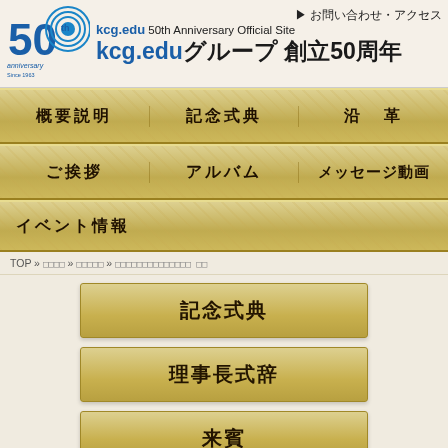[Figure (logo): 50th Anniversary logo circle with '50' and 'anniversary Since 1963' text]
kcg.edu 50th Anniversary Official Site kcg.eduグループ 創立50周年 ▶ お問い合わせ・アクセス
概要説明
記念式典
沿革
ご挨拶
アルバム
メッセージ動画
イベント情報
TOP » □□□□ » □□□□□ » □□□□□□□□□□□□ □□
記念式典
理事長式辞
来賓